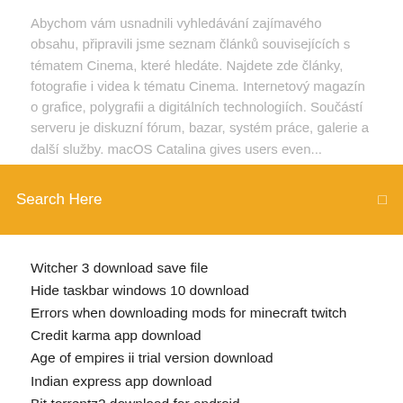Abychom vám usnadnili vyhledávání zajímavého obsahu, připravili jsme seznam článků souvisejících s tématem Cinema, které hledáte. Najdete zde články, fotografie i videa k tématu Cinema. Internetový magazín o grafice, polygrafii a digitálních technologiích. Součástí serveru je diskuzní fórum, bazar, systém práce, galerie a další služby. macOS Catalina gives users even...
[Figure (screenshot): Orange search bar with text 'Search Here' in white and a small white icon on the right]
Witcher 3 download save file
Hide taskbar windows 10 download
Errors when downloading mods for minecraft twitch
Credit karma app download
Age of empires ii trial version download
Indian express app download
Bit torrentz2 download for android
Cyberflix 3 apk download
How to download podcast app on iphone